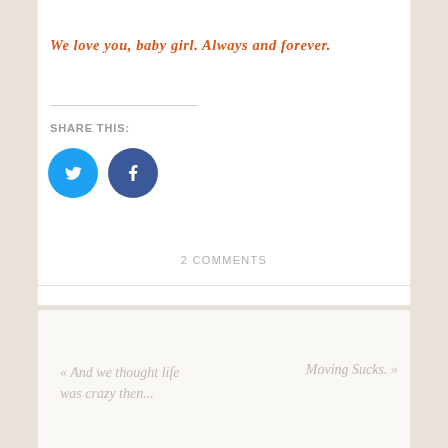We love you, baby girl. Always and forever.
SHARE THIS:
[Figure (other): Twitter bird icon circle button in blue]
[Figure (other): Facebook f icon circle button in blue]
2 COMMENTS
« And we thought life was crazy then...
Moving Sucks. »